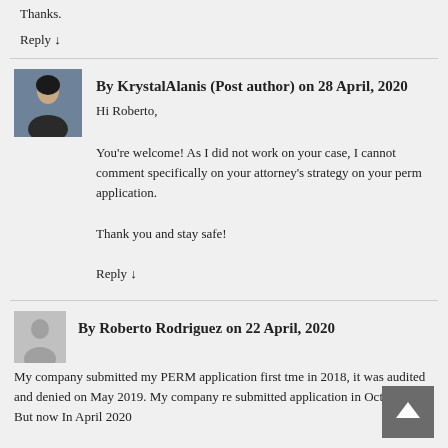Thanks.
Reply ↓
By KrystalAlanis (Post author) on 28 April, 2020
Hi Roberto,
You're welcome! As I did not work on your case, I cannot comment specifically on your attorney's strategy on your perm application.
Thank you and stay safe!
Reply ↓
By Roberto Rodriguez on 22 April, 2020
My company submitted my PERM application first time in 2018, it was audited and denied on May 2019. My company re submitted application in Oct 2019. But now In April 2020